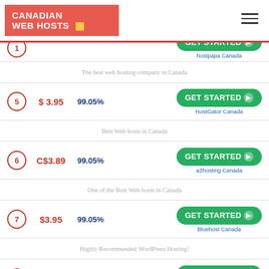CANADIAN WEB HOSTS
1 - hostpapa Canada - GET STARTED
The best web hosting company in Canada
5 - $3.95 - 99.05% - GET STARTED - HostGator Canada
Best Web hosts in Canada
6 - C$3.89 - 99.05% - GET STARTED - a2hosting Canada
One of the Best Web hosts in Canada
7 - $3.95 - 99.05% - GET STARTED - Bluehost Canada
Highly Recommended WordPress Hosting!
8 - $2.59 - 98.21% - GET STARTED - Dream host Canada